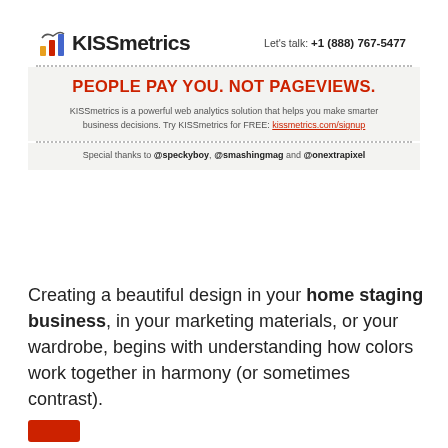[Figure (logo): KISSmetrics logo with bar chart icon and phone number: Let's talk: +1 (888) 767-5477]
PEOPLE PAY YOU. NOT PAGEVIEWS.
KISSmetrics is a powerful web analytics solution that helps you make smarter business decisions. Try KISSmetrics for FREE: kissmetrics.com/signup
Special thanks to @speckyboy, @smashingmag and @onextrapixel
Creating a beautiful design in your home staging business, in your marketing materials, or your wardrobe, begins with understanding how colors work together in harmony (or sometimes contrast).